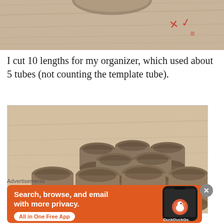[Figure (photo): Close-up partial photo of a cardboard tube on a wooden surface with red markings]
I cut 10 lengths for my organizer, which used about 5 tubes (not counting the template tube).
[Figure (photo): Photo of 10 short cardboard toilet paper tube segments arranged in a triangular/grouped pattern on a light wood surface, viewed from a low angle]
Advertisements
[Figure (infographic): DuckDuckGo advertisement banner: orange background with text 'Search, browse, and email with more privacy. All in One Free App' and DuckDuckGo logo with phone graphic]